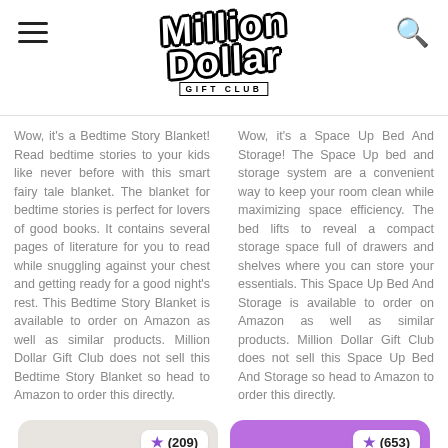Million Dollar Gift Club
Wow, it's a Bedtime Story Blanket! Read bedtime stories to your kids like never before with this smart fairy tale blanket. The blanket for bedtime stories is perfect for lovers of good books. It contains several pages of literature for you to read while snuggling against your chest and getting ready for a good night's rest. This Bedtime Story Blanket is available to order on Amazon as well as similar products. Million Dollar Gift Club does not sell this Bedtime Story Blanket so head to Amazon to order this directly.
Wow, it's a Space Up Bed And Storage! The Space Up bed and storage system are a convenient way to keep your room clean while maximizing space efficiency. The bed lifts to reveal a compact storage space full of drawers and shelves where you can store your essentials. This Space Up Bed And Storage is available to order on Amazon as well as similar products. Million Dollar Gift Club does not sell this Space Up Bed And Storage so head to Amazon to order this directly.
[Figure (other): Beige product card with star rating badge showing (209)]
[Figure (other): Purple product card with star rating badge showing (653)]